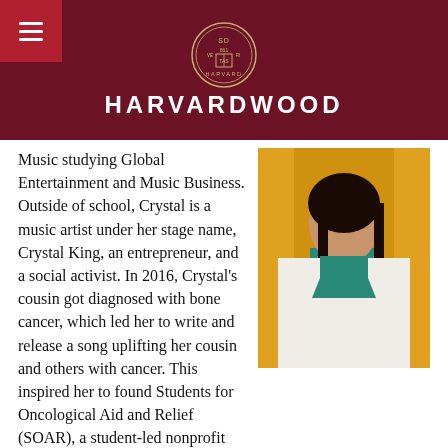HARVARDWOOD
[Figure (photo): Portrait photo of a young woman in a white blazer and teal top against a yellow background]
Music studying Global Entertainment and Music Business. Outside of school, Crystal is a music artist under her stage name, Crystal King, an entrepreneur, and a social activist. In 2016, Crystal's cousin got diagnosed with bone cancer, which led her to write and release a song uplifting her cousin and others with cancer. This inspired her to found Students for Oncological Aid and Relief (SOAR), a student-led nonprofit organization dedicated to bringing joy and aid to cancer patients. Crystal currently sits as CEO, where she oversees numerous fundraisers and philanthropy projects, such as an annual scholarship, a webinar with cancer specialists, benefit concerts, etc. Over the past few years, SOAR has raised over $50,000, expanded to over 9 chapters and 500+ members across the nation, and impacted thousands of families with cancer. Currently, SOAR is working on developing an app which will integrate music